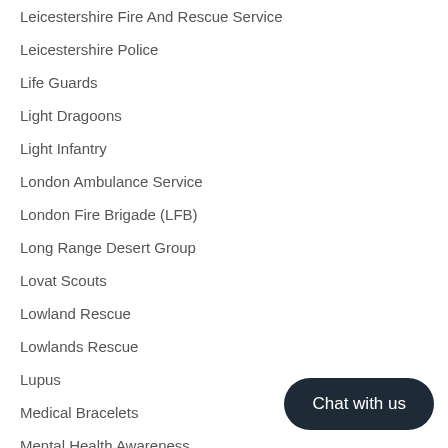Leicestershire Fire And Rescue Service
Leicestershire Police
Life Guards
Light Dragoons
Light Infantry
London Ambulance Service
London Fire Brigade (LFB)
Long Range Desert Group
Lovat Scouts
Lowland Rescue
Lowlands Rescue
Lupus
Medical Bracelets
Mental Health Awareness
Merchant Navy
Chat with us